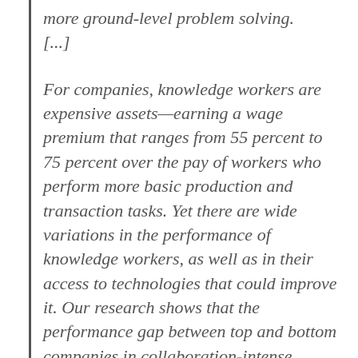more ground-level problem solving. [...]
For companies, knowledge workers are expensive assets—earning a wage premium that ranges from 55 percent to 75 percent over the pay of workers who perform more basic production and transaction tasks. Yet there are wide variations in the performance of knowledge workers, as well as in their access to technologies that could improve it. Our research shows that the performance gap between top and bottom companies in collaboration-intense sectors is nine times that of